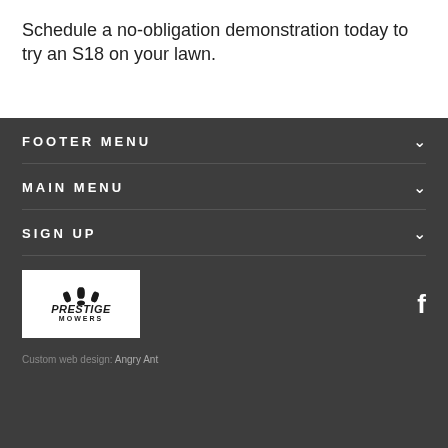Schedule a no-obligation demonstration today to try an S18 on your lawn.
FOOTER MENU
MAIN MENU
SIGN UP
[Figure (logo): Prestige Mowers logo — white background box with stylized mower blade leaves icon above the bold italic text PRESTIGE with MOWERS in small caps below]
Custom web design: Angry Ant